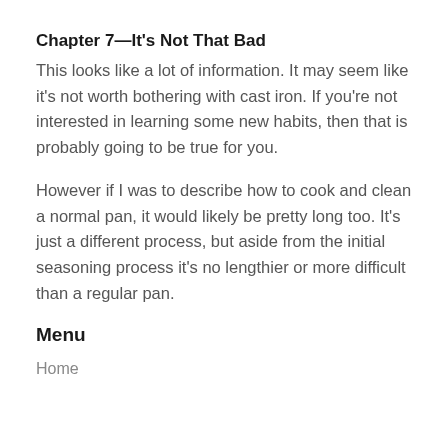Chapter 7—It's Not That Bad
This looks like a lot of information. It may seem like it's not worth bothering with cast iron. If you're not interested in learning some new habits, then that is probably going to be true for you.
However if I was to describe how to cook and clean a normal pan, it would likely be pretty long too. It's just a different process, but aside from the initial seasoning process it's no lengthier or more difficult than a regular pan.
Menu
Home